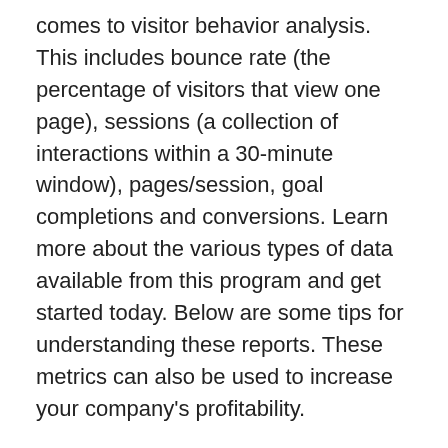comes to visitor behavior analysis. This includes bounce rate (the percentage of visitors that view one page), sessions (a collection of interactions within a 30-minute window), pages/session, goal completions and conversions. Learn more about the various types of data available from this program and get started today. Below are some tips for understanding these reports. These metrics can also be used to increase your company's profitability.
Metrics
To know how users are interacting with your website, you need to understand some basic metrics. To improve the performance of your website, you can measure how long users spend on each page. The session quality metric shows